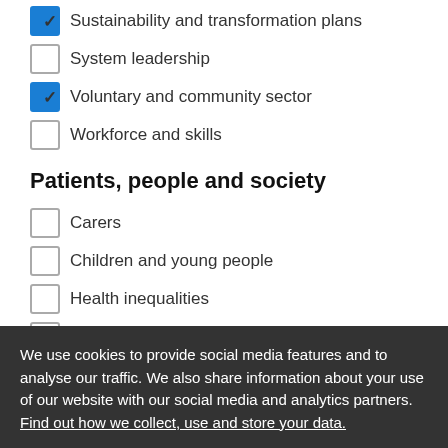☑ Sustainability and transformation plans
☐ System leadership
☑ Voluntary and community sector
☐ Workforce and skills
Patients, people and society
☐ Carers
☐ Children and young people
☐ Health inequalities
☐ Patient experience
☑ Patient involvement
☐ Patient safety
☐ Population health
☐ Public opinion
☑ Technology and data
We use cookies to provide social media features and to analyse our traffic. We also share information about your use of our website with our social media and analytics partners. Find out how we collect, use and store your data.